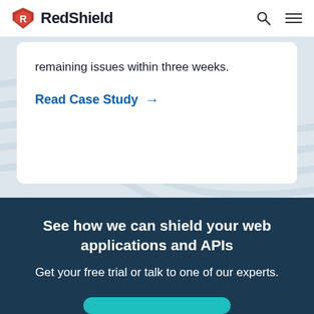RedShield
remaining issues within three weeks.
Read Case Study →
See how we can shield your web applications and APIs
Get your free trial or talk to one of our experts.